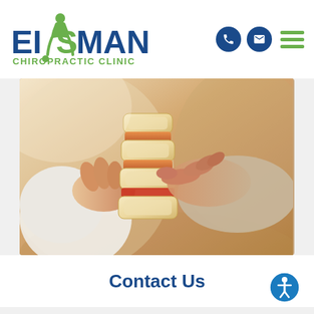[Figure (logo): Eisman Chiropractic Clinic logo with green figure and blue text]
[Figure (photo): Hands holding a spine vertebrae anatomical model, chiropractic clinic photo]
Contact Us
[Figure (illustration): Accessibility icon - person in circle at bottom right]